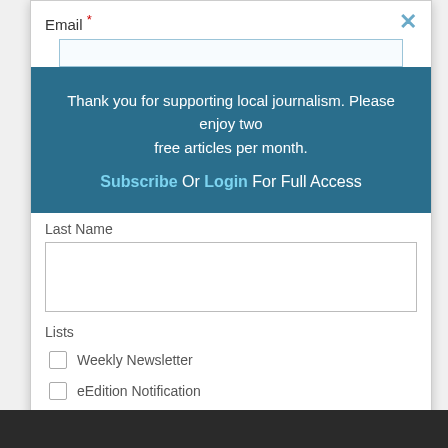Email *
Thank you for supporting local journalism. Please enjoy two free articles per month.
Subscribe Or Login For Full Access
Last Name
Lists
Weekly Newsletter
eEdition Notification
SUBSCRIBE